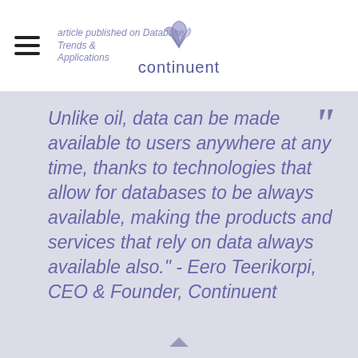Continuent | recently commented on this topic in an article published on Database Trends & Applications
Unlike oil, data can be made available to users anywhere at any time, thanks to technologies that allow for databases to be always available, making the products and services that rely on data always available also." - Eero Teerikorpi, CEO & Founder, Continuent